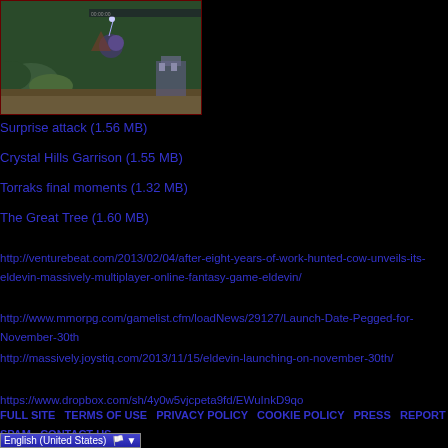[Figure (screenshot): Game screenshot showing fantasy MMORPG scene with characters and landscape]
Surprise attack (1.56 MB)
Crystal Hills Garrison (1.55 MB)
Torraks final moments (1.32 MB)
The Great Tree (1.60 MB)
http://venturebeat.com/2013/02/04/after-eight-years-of-work-hunted-cow-unveils-its-eldevin-massively-multiplayer-online-fantasy-game-eldevin/
http://www.mmorpg.com/gamelist.cfm/loadNews/29127/Launch-Date-Pegged-for-November-30th
http://massively.joystiq.com/2013/11/15/eldevin-launching-on-november-30th/
https://www.dropbox.com/sh/4y0w5vjcpeta9fd/EWuInkD9qo
FULL SITE   TERMS OF USE   PRIVACY POLICY   COOKIE POLICY   PRESS   REPORT SPAM   CONTACT US
English (United States)